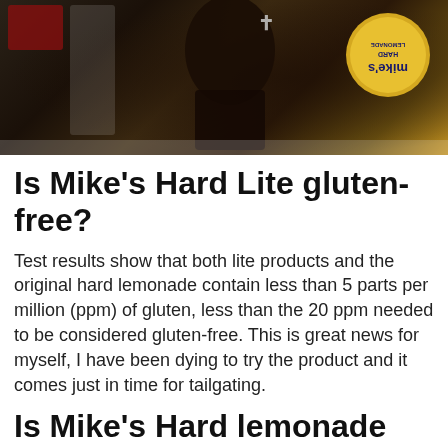[Figure (photo): Photo showing a dark background with a person wearing a cross necklace and a Mike's Hard Lemonade branded item visible in the upper right corner with the logo appearing mirrored/reversed]
Is Mike’s Hard Lite gluten-free?
Test results show that both lite products and the original hard lemonade contain less than 5 parts per million (ppm) of gluten, less than the 20 ppm needed to be considered gluten-free. This is great news for myself, I have been dying to try the product and it comes just in time for tailgating.
Is Mike’s Hard lemonade celiac safe?